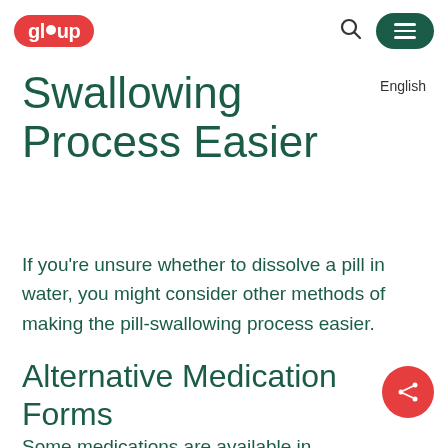gloup | English
Swallowing Process Easier
If you're unsure whether to dissolve a pill in water, you might consider other methods of making the pill-swallowing process easier.
Alternative Medication Forms
Some medications are available in